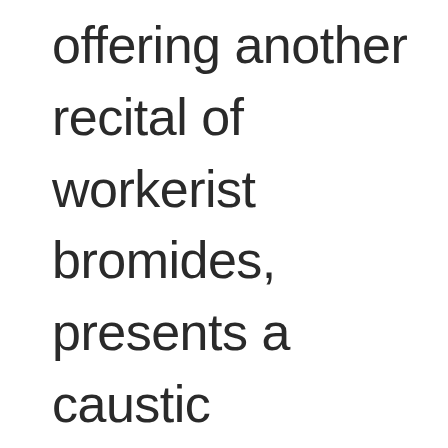offering another recital of workerist bromides, presents a caustic indictment of modern politics and society. With